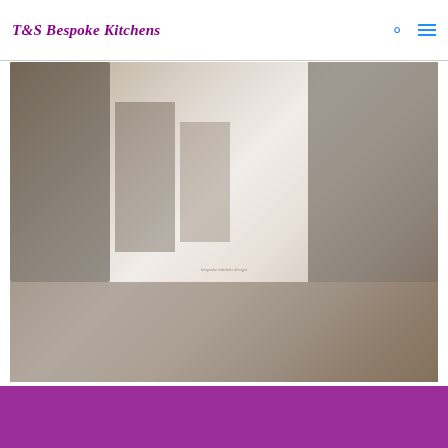T&S Bespoke Kitchens
[Figure (photo): Bespoke kitchen photograph showing cabinetry and kitchen interior]